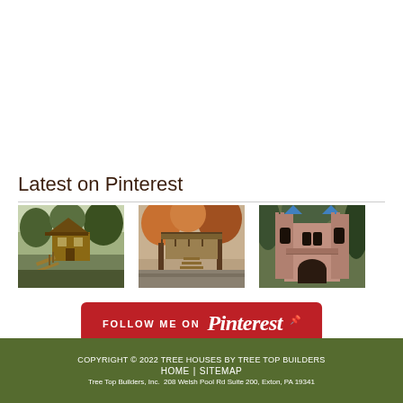Latest on Pinterest
[Figure (photo): Three treehouse photos from Pinterest: first shows a wooden treehouse with a ramp and stairs surrounded by trees, second shows a treehouse with a deck in an autumn wooded setting, third shows a castle-style treehouse with blue turrets and an arched entrance.]
[Figure (other): Follow Me on Pinterest button - red rounded rectangle with white text FOLLOW ME ON Pinterest in white cursive logo]
COPYRIGHT © 2022 TREE HOUSES BY TREE TOP BUILDERS HOME | SITEMAP Tree Top Builders, Inc. 208 Welsh Pool Rd Suite 200, Exton, PA 19341